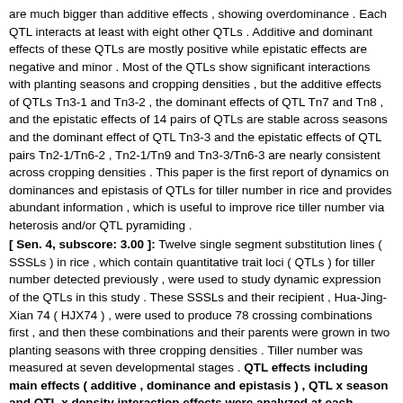are much bigger than additive effects , showing overdominance . Each QTL interacts at least with eight other QTLs . Additive and dominant effects of these QTLs are mostly positive while epistatic effects are negative and minor . Most of the QTLs show significant interactions with planting seasons and cropping densities , but the additive effects of QTLs Tn3-1 and Tn3-2 , the dominant effects of QTL Tn7 and Tn8 , and the epistatic effects of 14 pairs of QTLs are stable across seasons and the dominant effect of QTL Tn3-3 and the epistatic effects of QTL pairs Tn2-1/Tn6-2 , Tn2-1/Tn9 and Tn3-3/Tn6-3 are nearly consistent across cropping densities . This paper is the first report of dynamics on dominances and epistasis of QTLs for tiller number in rice and provides abundant information , which is useful to improve rice tiller number via heterosis and/or QTL pyramiding .
[ Sen. 4, subscore: 3.00 ]: Twelve single segment substitution lines ( SSSLs ) in rice , which contain quantitative trait loci ( QTLs ) for tiller number detected previously , were used to study dynamic expression of the QTLs in this study . These SSSLs and their recipient , Hua-Jing-Xian 74 ( HJX74 ) , were used to produce 78 crossing combinations first , and then these combinations and their parents were grown in two planting seasons with three cropping densities . Tiller number was measured at seven developmental stages . QTL effects including main effects ( additive , dominance and epistasis ) , QTL x season and QTL x density interaction effects were analyzed at each measured stage . The additive , dominant and epistatic effects of the 12 QTLs as well as their interaction effects with the seasons and with the densities all display dynamic changes with the development . Eight QTLs are detected with significant additive effects and/or additive x season and/or additive x density interaction effects at least at one developmental stage , and all QTLs have significant dominant and epistatic effects and/or interaction effects involved in . For most of the QTLs dominant effects are much bigger than additive effects , showing overdominance . Each